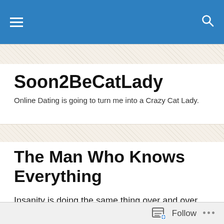Soon2BeCatLady
Online Dating is going to turn me into a Crazy Cat Lady.
The Man Who Knows Everything
Insanity is doing the same thing over and over and expecting a different result. (I'm warning you now, this isn't safe for work.)
Hinge's ads on Hulu sucked me back in. They're the
Follow